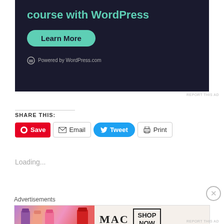[Figure (screenshot): Dark-themed advertisement banner for a WordPress course with teal text 'course with WordPress', a teal 'Learn More' button, and 'Powered by WordPress.com' footer text.]
REPORT THIS AD
SHARE THIS:
[Figure (screenshot): Social sharing buttons row: red Pinterest Save button, white Email button, blue Tweet button, white Print button.]
Loading...
Advertisements
[Figure (screenshot): MAC cosmetics advertisement banner showing lipsticks and MAC logo with 'SHOP NOW' text in a bordered box.]
REPORT THIS AD